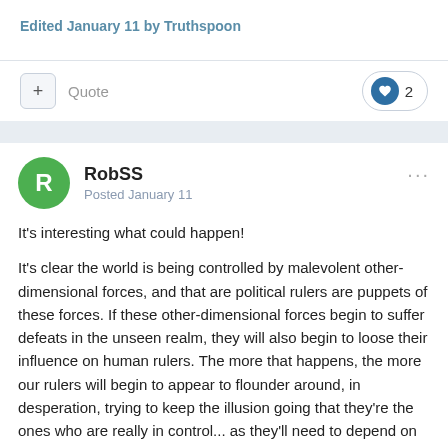Edited January 11 by Truthspoon
Quote
2
RobSS
Posted January 11
It's interesting what could happen!

It's clear the world is being controlled by malevolent other-dimensional forces, and that are political rulers are puppets of these forces. If these other-dimensional forces begin to suffer defeats in the unseen realm, they will also begin to loose their influence on human rulers. The more that happens, the more our rulers will begin to appear to flounder around, in desperation, trying to keep the illusion going that they're the ones who are really in control... as they'll need to depend on their own human